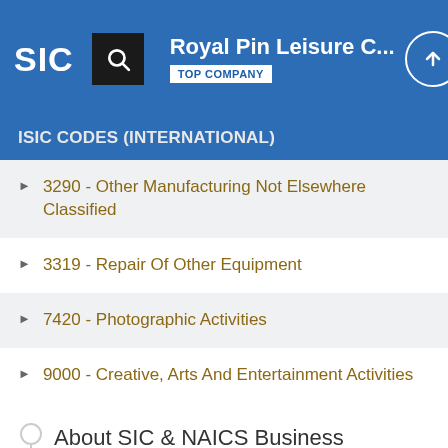Royal Pin Leisure C... TOP COMPANY
ISIC CODES (INTERNATIONAL)
3290 - Other Manufacturing Not Elsewhere Classified
3319 - Repair Of Other Equipment
7420 - Photographic Activities
9000 - Creative, Arts And Entertainment Activities
About SIC & NAICS Business